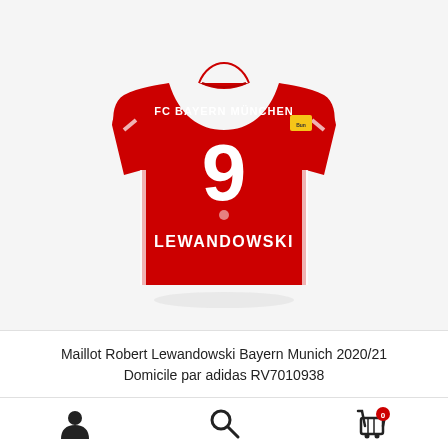[Figure (photo): Back view of FC Bayern München red home jersey number 9 with name LEWANDOWSKI, adidas 2020/21 season. White text and number on red shirt.]
Maillot Robert Lewandowski Bayern Munich 2020/21 Domicile par adidas RV7010938